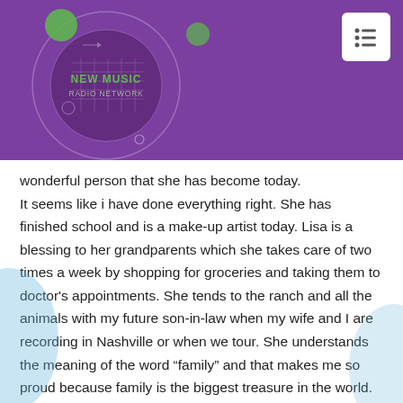[Figure (logo): New Music Radio Network logo — circular design with green accent circles on purple background, text reads NEW MUSIC RADIO NETWORK in green/grey]
wonderful person that she has become today.

It seems like i have done everything right. She has finished school and is a make-up artist today. Lisa is a blessing to her grandparents which she takes care of two times a week by shopping for groceries and taking them to doctor's appointments. She tends to the ranch and all the animals with my future son-in-law when my wife and I are recording in Nashville or when we tour. She understands the meaning of the word “family” and that makes me so proud because family is the biggest treasure in the world. No matter